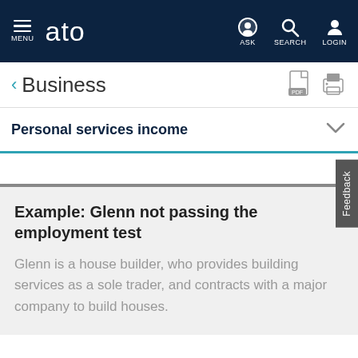MENU  ato  ASK  SEARCH  LOGIN
< Business
Personal services income
Example: Glenn not passing the employment test
Glenn is a house builder, who provides building services as a sole trader, and contracts with a major company to build houses.